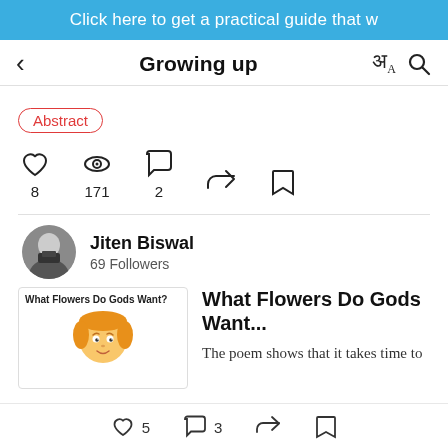Click here to get a practical guide that w
Growing up
Abstract
8  171  2
Jiten Biswal
69 Followers
What Flowers Do Gods Want...
The poem shows that it takes time to
5  3